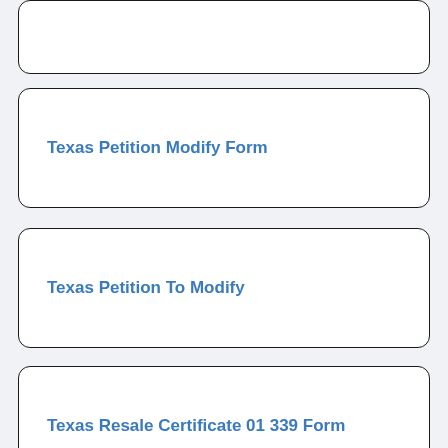Texas Petition Modify Form
Texas Petition To Modify
Texas Resale Certificate 01 339 Form